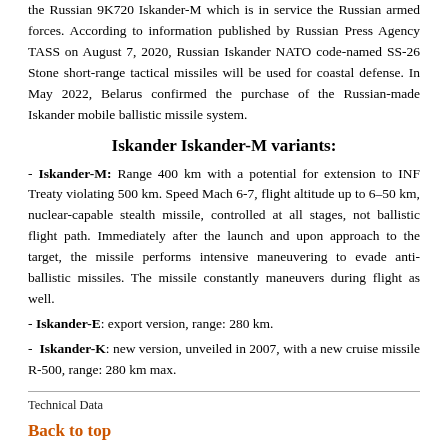the Russian 9K720 Iskander-M which is in service the Russian armed forces. According to information published by Russian Press Agency TASS on August 7, 2020, Russian Iskander NATO code-named SS-26 Stone short-range tactical missiles will be used for coastal defense. In May 2022, Belarus confirmed the purchase of the Russian-made Iskander mobile ballistic missile system.
Iskander Iskander-M variants:
- Iskander-M: Range 400 km with a potential for extension to INF Treaty violating 500 km. Speed Mach 6-7, flight altitude up to 6–50 km, nuclear-capable stealth missile, controlled at all stages, not ballistic flight path. Immediately after the launch and upon approach to the target, the missile performs intensive maneuvering to evade anti-ballistic missiles. The missile constantly maneuvers during flight as well.
- Iskander-E: export version, range: 280 km.
- Iskander-K: new version, unveiled in 2007, with a new cruise missile R-500, range: 280 km max.
Technical Data
Back to top